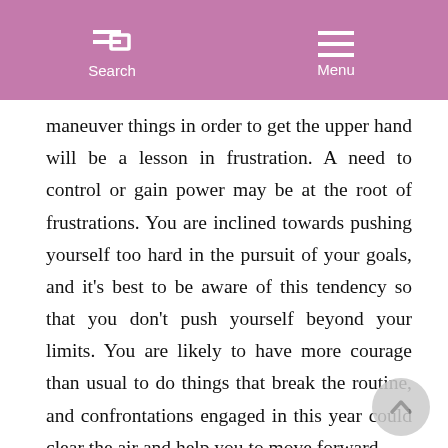Search   Menu
maneuver things in order to get the upper hand will be a lesson in frustration. A need to control or gain power may be at the root of frustrations. You are inclined towards pushing yourself too hard in the pursuit of your goals, and it's best to be aware of this tendency so that you don't push yourself beyond your limits. You are likely to have more courage than usual to do things that break the routine, and confrontations engaged in this year could clear the air and help you to move forward.
Mars trines Neptune in your Solar Return chart, helping to soften matters somewhat. You act more on intuition than ever this year, and your creative impulses are potent. If you